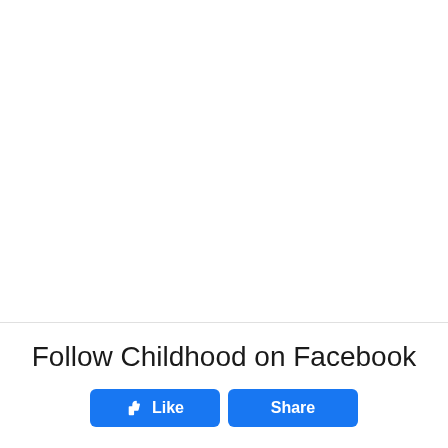Follow Childhood on Facebook
[Figure (other): Facebook Like and Share buttons]